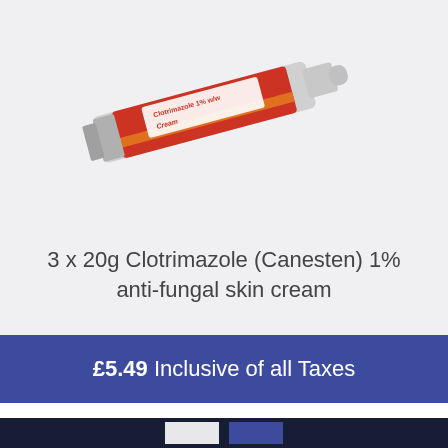[Figure (photo): Red and white tube of Clotrimazole 1% w/w Cream (Canesten brand) on a light grey background]
3 x 20g Clotrimazole (Canesten) 1% anti-fungal skin cream
£5.49 Inclusive of all Taxes